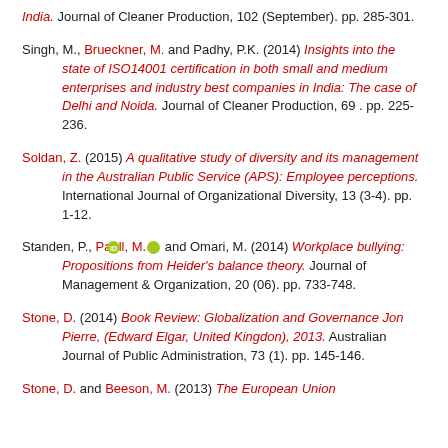India. Journal of Cleaner Production, 102 (September). pp. 285-301.
Singh, M., Brueckner, M. and Padhy, P.K. (2014) Insights into the state of ISO14001 certification in both small and medium enterprises and industry best companies in India: The case of Delhi and Noida. Journal of Cleaner Production, 69 . pp. 225-236.
Soldan, Z. (2015) A qualitative study of diversity and its management in the Australian Public Service (APS): Employee perceptions. International Journal of Organizational Diversity, 13 (3-4). pp. 1-12.
Standen, P., Paull, M. and Omari, M. (2014) Workplace bullying: Propositions from Heider's balance theory. Journal of Management & Organization, 20 (06). pp. 733-748.
Stone, D. (2014) Book Review: Globalization and Governance Jon Pierre, (Edward Elgar, United Kingdon), 2013. Australian Journal of Public Administration, 73 (1). pp. 145-146.
Stone, D. and Beeson, M. (2013) The European Union